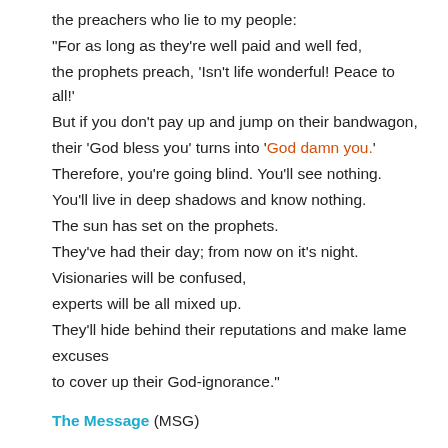the preachers who lie to my people:
"For as long as they're well paid and well fed,
the prophets preach, 'Isn't life wonderful! Peace to all!'
But if you don't pay up and jump on their bandwagon,
their 'God bless you' turns into 'God damn you.'
Therefore, you're going blind. You'll see nothing.
You'll live in deep shadows and know nothing.
The sun has set on the prophets.
They've had their day; from now on it's night.
Visionaries will be confused,
experts will be all mixed up.
They'll hide behind their reputations and make lame excuses
to cover up their God-ignorance."
The Message (MSG)